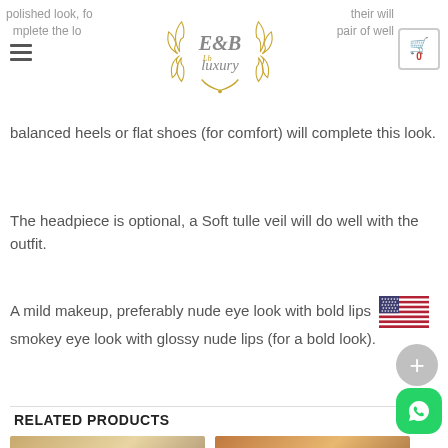E&B Luxury — navigation header with logo, hamburger menu, cart icon
balanced heels or flat shoes (for comfort) will complete this look.
The headpiece is optional, a Soft tulle veil will do well with the outfit.
A mild makeup, preferably nude eye look with bold lips smokey eye look with glossy nude lips (for a bold look).
RELATED PRODUCTS
[Figure (photo): Product image of a glittery/embellished dress on left side]
[Figure (photo): Product image of a glittery/sequin dress on right side]